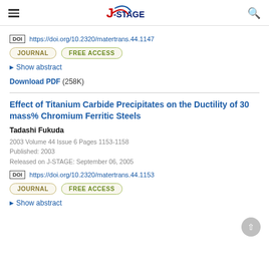J-STAGE
DOI https://doi.org/10.2320/matertrans.44.1147
JOURNAL  FREE ACCESS
Show abstract
Download PDF (258K)
Effect of Titanium Carbide Precipitates on the Ductility of 30 mass% Chromium Ferritic Steels
Tadashi Fukuda
2003 Volume 44 Issue 6 Pages 1153-1158
Published: 2003
Released on J-STAGE: September 06, 2005
DOI https://doi.org/10.2320/matertrans.44.1153
JOURNAL  FREE ACCESS
Show abstract